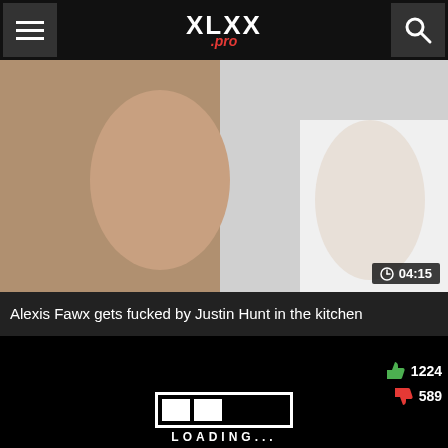XLXX.pro
[Figure (photo): Video thumbnail showing explicit adult content in a kitchen setting]
04:15
Alexis Fawx gets fucked by Justin Hunt in the kitchen
[Figure (screenshot): Loading screen with animated loading bar and text, showing 1224 likes and 589 dislikes]
1224
589
LOADING...